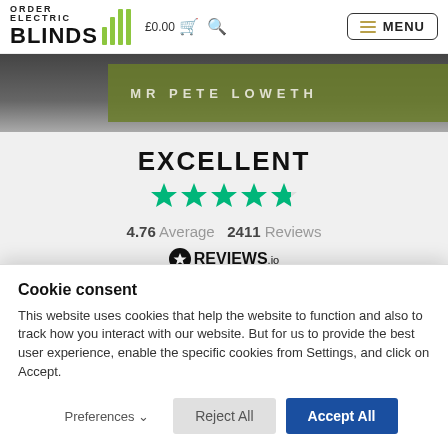ORDER ELECTRIC BLINDS £0.00 MENU
[Figure (screenshot): Hero image with dark background, green rectangle overlay, and text MR PETE LOWETH in spaced letters]
EXCELLENT
[Figure (other): Five green stars rating display (4.76 out of 5, last star is partial)]
4.76 Average 2411 Reviews
REVIEWS.io
Cookie consent
This website uses cookies that help the website to function and also to track how you interact with our website. But for us to provide the best user experience, enable the specific cookies from Settings, and click on Accept.
Preferences  Reject All  Accept All